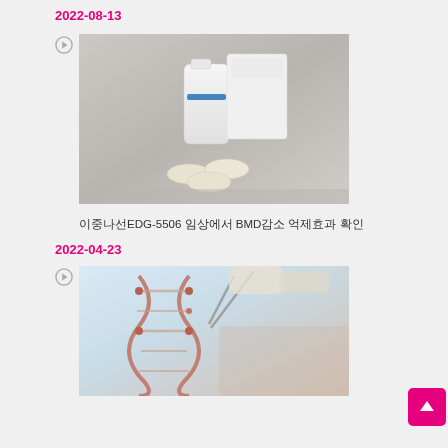2022-08-13
[Figure (photo): Pharmaceutical pills scattered in front of a white medicine bottle and box]
이중나선EDG-5506 임상에서 BMD감소 억제효과 확인
2022-04-23
[Figure (photo): DNA double helix structure being manipulated with tweezers by gloved hands]